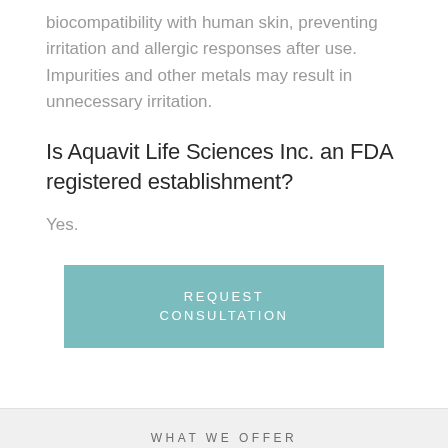biocompatibility with human skin, preventing irritation and allergic responses after use. Impurities and other metals may result in unnecessary irritation.
Is Aquavit Life Sciences Inc. an FDA registered establishment?
Yes.
[Figure (other): Teal/green rectangular button with white uppercase text reading REQUEST CONSULTATION]
WHAT WE OFFER
Services and Products